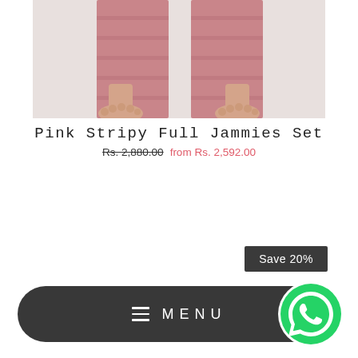[Figure (photo): Photo of person wearing pink stripy pajama bottoms, showing legs and feet from approximately knees down on light grey background]
Pink Stripy Full Jammies Set
Rs. 2,880.00  from Rs. 2,592.00
Save 20%
[Figure (other): Dark rounded menu bar with hamburger icon and MENU text, plus WhatsApp circle button on the right]